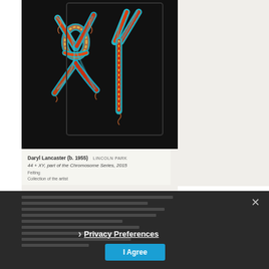[Figure (photo): Photograph of a textile artwork on dark background showing chromosome-like forms embroidered in colorful yarn (teal, orange, red) against a black felt backing, displayed on a white gallery wall.]
Daryl Lancaster (b. 1955)  LINCOLN PARK
44 + XY, part of the Chromosome Series, 2015
Felting
Collection of the artist
[Figure (screenshot): Dark overlay showing blurred text content with a Privacy Preferences modal dialog containing a close X button, a chevron arrow, a Privacy Preferences link, and an I Agree button in blue.]